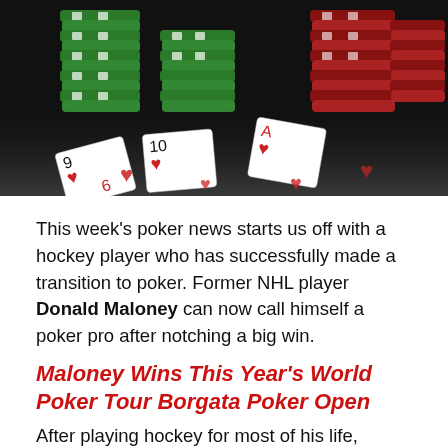[Figure (photo): Close-up photograph of stacked poker chips (green and red) with playing cards (showing hearts) spread in the foreground on a dark background.]
This week's poker news starts us off with a hockey player who has successfully made a transition to poker. Former NHL player Donald Maloney can now call himself a poker pro after notching a big win.
Maloney Wins This Year's World Poker Tour Borgata Poker Open
After playing hockey for most of his life, Donald Maloney decided that he wanted to pursue another passion of his: poker. That decision has paid off big time as Maloney has won this year's World Poker Tour Borgata Poker Open. With the final prize pool for the event reaching a total of $3,700,356, the former hockey player raked in $616,186